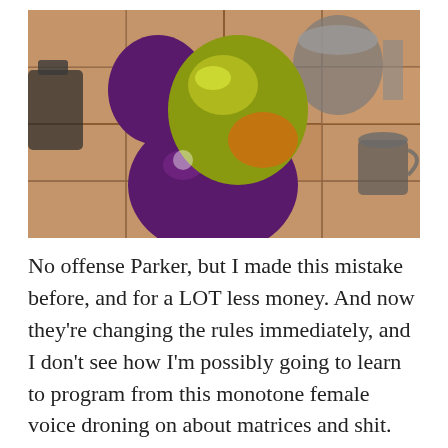[Figure (photo): A purple and yellow-green ceramic duck figurine sitting on a tiled kitchen counter. The duck has a glossy purple body and a yellow-green head. In the background are kitchen items including pots and cups on terracotta-colored tiles.]
No offense Parker, but I made this mistake before, and for a LOT less money. And now they're changing the rules immediately, and I don't see how I'm possibly going to learn to program from this monotone female voice droning on about matrices and shit. Seriously, she's giving me unpleasant memories of Mavis Beacon from my middle